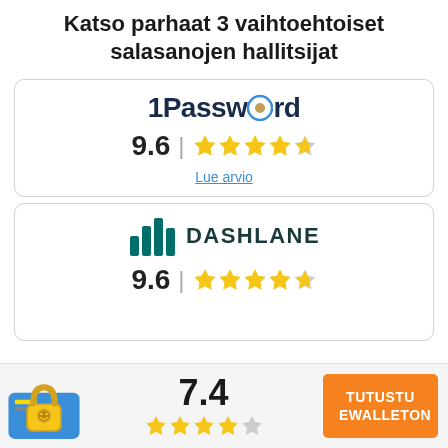Katso parhaat 3 vaihtoehtoiset salasanojen hallitsijat
[Figure (infographic): 1Password product card with logo, rating 9.6 and 5 stars, and link 'Lue arvio']
[Figure (infographic): Dashlane product card with logo, rating 9.6 and 5 stars]
[Figure (infographic): Bottom bar with lock icon, score 7.4, 3.5 stars, and orange button 'TUTUSTU EWALLETON']